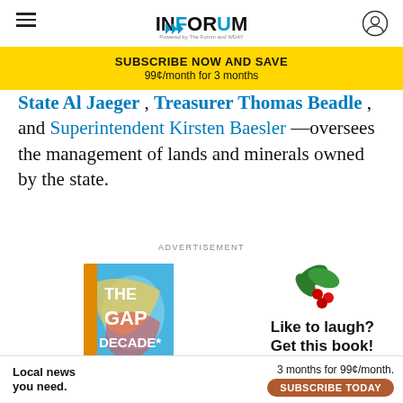INFORUM — Powered by The Forum and WDAY
SUBSCRIBE NOW AND SAVE
99¢/month for 3 months
State Al Jaeger , Treasurer Thomas Beadle , and Superintendent Kirsten Baesler —oversees the management of lands and minerals owned by the state.
ADVERTISEMENT
[Figure (illustration): Book cover for 'The Gap Decade' with colorful abstract design, alongside holly decoration and text 'Like to laugh? Get this book!']
Local news you need. 3 months for 99¢/month. SUBSCRIBE TODAY